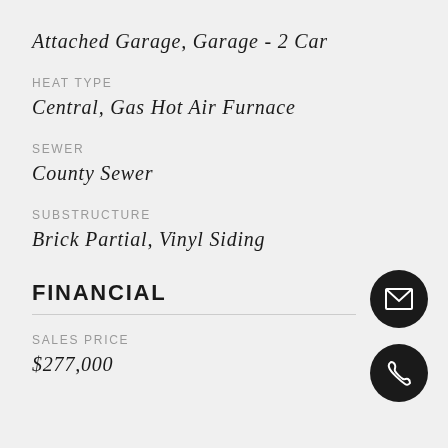Attached Garage, Garage - 2 Car
HEAT TYPE
Central, Gas Hot Air Furnace
SEWER
County Sewer
SUBSTRUCTURE
Brick Partial, Vinyl Siding
FINANCIAL
SALES PRICE
$277,000